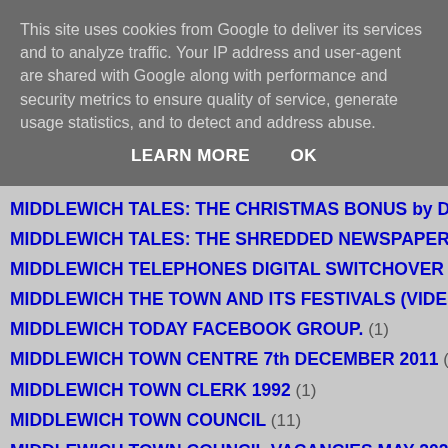This site uses cookies from Google to deliver its services and to analyze traffic. Your IP address and user-agent are shared with Google along with performance and security metrics to ensure quality of service, generate usage statistics, and to detect and address abuse.
LEARN MORE   OK
MIDDLEWICH TALES: THE CHRISTMAS BONUS by Daniel
MIDDLEWICH TALES: THE SHREDDED NEWSPAPER by D
MIDDLEWICH TELEPHONES DIGITAL SWITCHOVER 1992
MIDDLEWICH THE TOWN AND ITS FESTIVALS (VIDEO) LI
MIDDLEWICH TODAY FACEBOOK GROUP. (1)
MIDDLEWICH TOWN CENTRE 7th DECEMBER 2011 (1)
MIDDLEWICH TOWN CLERK 1992 (1)
MIDDLEWICH TOWN COUNCIL (11)
MIDDLEWICH TOWN COUNCIL VACANCIES MAY 2020 (1)
MIDDLEWICH TOWN CRIER (5)